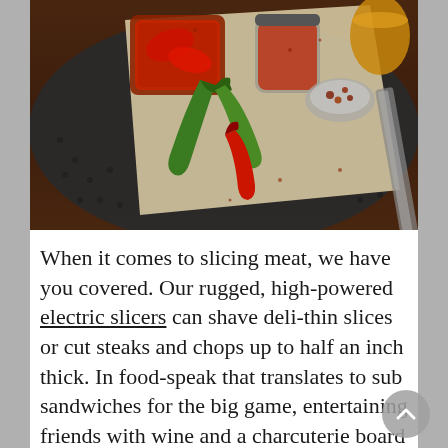[Figure (photo): A dark metal round tray holding a parchment paper with chili peppers (red and green), a square dish of red sauce, a glass jar with sauce, a small bowl of red pepper flakes, and a glass of amber liquid, all on a dark wooden surface.]
When it comes to slicing meat, we have you covered. Our rugged, high-powered electric slicers can shave deli-thin slices or cut steaks and chops up to half an inch thick. In food-speak that translates to sub sandwiches for the big game, entertaining friends with wine and a charcuterie board or pork chops for quick grilling. Our manual jerky slicers and meat tenderizers deliver perfect strips of meat for drying into everyone's favorite chewy